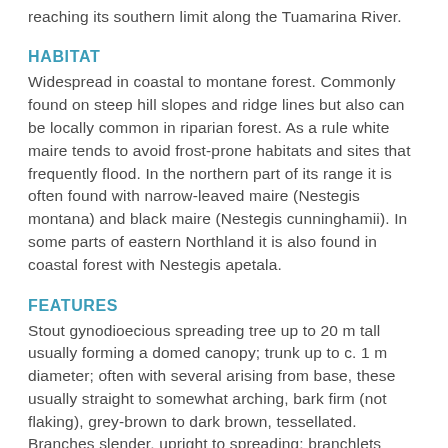reaching its southern limit along the Tuamarina River.
HABITAT
Widespread in coastal to montane forest. Commonly found on steep hill slopes and ridge lines but also can be locally common in riparian forest. As a rule white maire tends to avoid frost-prone habitats and sites that frequently flood. In the northern part of its range it is often found with narrow-leaved maire (Nestegis montana) and black maire (Nestegis cunninghamii). In some parts of eastern Northland it is also found in coastal forest with Nestegis apetala.
FEATURES
Stout gynodioecious spreading tree up to 20 m tall usually forming a domed canopy; trunk up to c. 1 m diameter; often with several arising from base, these usually straight to somewhat arching, bark firm (not flaking), grey-brown to dark brown, tessellated.
Branches slender, upright to spreading; branchlets